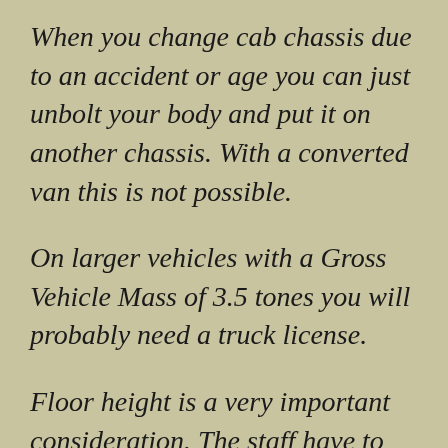When you change cab chassis due to an accident or age you can just unbolt your body and put it on another chassis. With a converted van this is not possible.
On larger vehicles with a Gross Vehicle Mass of 3.5 tones you will probably need a truck license.
Floor height is a very important consideration. The staff have to